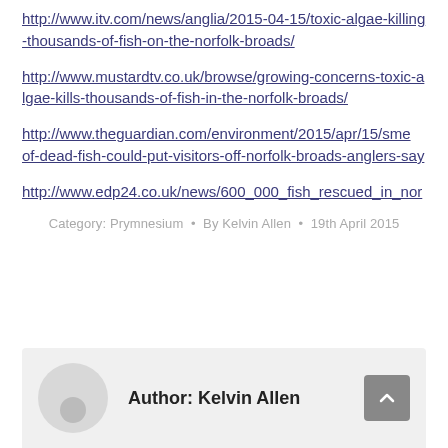http://www.itv.com/news/anglia/2015-04-15/toxic-algae-killing-thousands-of-fish-on-the-norfolk-broads/
http://www.mustardtv.co.uk/browse/growing-concerns-toxic-algae-kills-thousands-of-fish-in-the-norfolk-broads/
http://www.theguardian.com/environment/2015/apr/15/sme… of-dead-fish-could-put-visitors-off-norfolk-broads-anglers-say
http://www.edp24.co.uk/news/600_000_fish_rescued_in_nor…
Category: Prymnesium • By Kelvin Allen • 19th April 2015
Author: Kelvin Allen